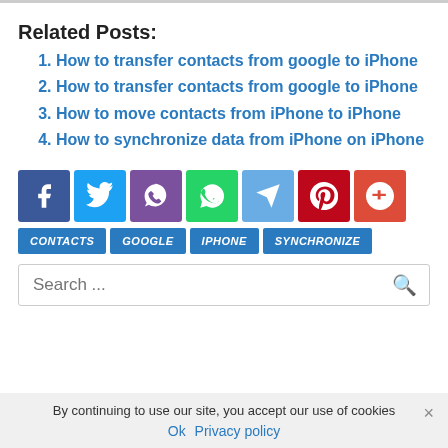Related Posts:
How to transfer contacts from google to iPhone
How to transfer contacts from google to iPhone
How to move contacts from iPhone to iPhone
How to synchronize data from iPhone on iPhone
[Figure (infographic): Row of 7 social media share buttons: Facebook (blue), Twitter (light blue), Viber (purple), WhatsApp (green), Telegram (light blue), Pinterest (red), Google+ (orange-red)]
[Figure (infographic): Row of 4 tag buttons: CONTACTS, GOOGLE, IPHONE, SYNCHRONIZE (all blue)]
Search ...
By continuing to use our site, you accept our use of cookies
Ok  Privacy policy